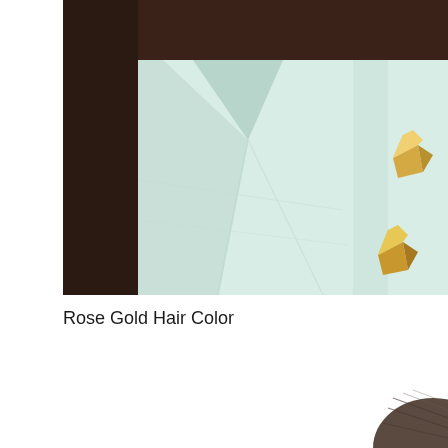[Figure (photo): A person wearing a white/light mint jacket with gold pyramid stud embellishments. Dark background visible on the left side. The image shows the collar and upper chest area of the jacket.]
Rose Gold Hair Color
[Figure (photo): Partial view of hair, showing dark/brown hair against a white background. Only the top-right portion of the image is visible.]